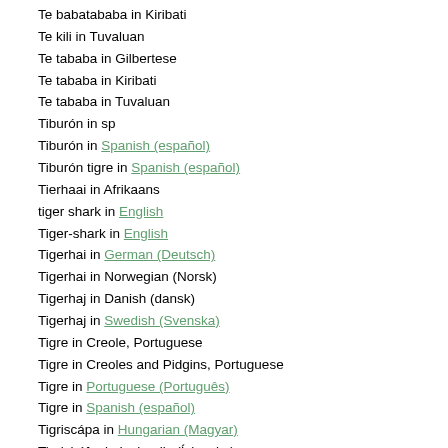Te babatababa in Kiribati
Te kili in Tuvaluan
Te tababa in Gilbertese
Te tababa in Kiribati
Te tababa in Tuvaluan
Tiburón in sp
Tiburón in Spanish (español)
Tiburón tigre in Spanish (español)
Tierhaai in Afrikaans
tiger shark in English
Tiger-shark in English
Tigerhai in German (Deutsch)
Tigerhai in Norwegian (Norsk)
Tigerhaj in Danish (dansk)
Tigerhaj in Swedish (Svenska)
Tigre in Creole, Portuguese
Tigre in Creoles and Pidgins, Portuguese
Tigre in Portuguese (Português)
Tigre in Spanish (español)
Tigriscápa in Hungarian (Magyar)
Tigrisháfur in Icelandic (Íslenska)
Tiikerihai in Finnish (suomen kieli)
Tijgerhaai in Dutch (Nederlands)
Tintolero in Papiamento
Tintorera in Spanish (español)
Tintorera tigre in Spanish (español)
Tintorero in Papiamento